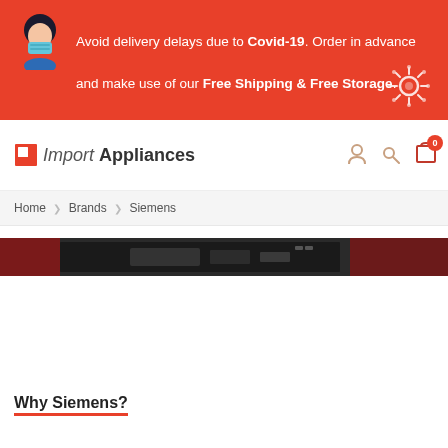Avoid delivery delays due to Covid-19. Order in advance and make use of our Free Shipping & Free Storage.
[Figure (logo): ImportAppliances logo with orange square icon]
Home › Brands › Siemens
[Figure (photo): Siemens appliance product image strip showing kitchen appliances]
Why Siemens?